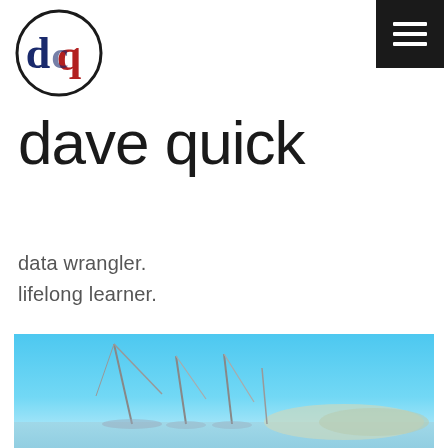[Figure (logo): Circular logo with overlapping letters d, c, q in dark blue and red on white background with black circle border — dave quick brand logo]
[Figure (other): Dark navy/black hamburger menu button (three horizontal white lines) in top right corner]
dave quick
data wrangler.
lifelong learner.
[Figure (photo): Photograph of sailboat masts in a marina against a bright blue sky, with hills or cityscape visible in the background]